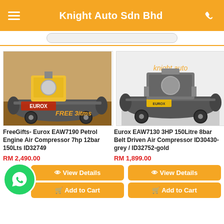Knight Auto Sdn Bhd
[Figure (photo): Eurox EAW7190 petrol engine air compressor with FREE 3itms text overlay]
FreeGifts- Eurox EAW7190 Petrol Engine Air Compressor 7hp 12bar 150Lts ID32749
RM 2,490.00
[Figure (photo): Eurox EAW7130 3HP 150Litre 8bar belt driven air compressor, grey/gold color]
Eurox EAW7130 3HP 150Litre 8bar Belt Driven Air Compressor ID30430-grey / ID32752-gold
RM 1,899.00